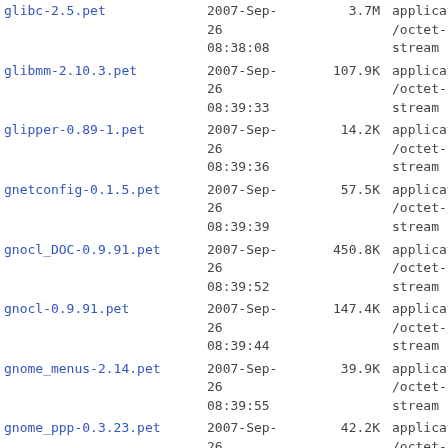| Name | Date | Size | Type |
| --- | --- | --- | --- |
| glibc-2.5.pet | 2007-Sep-26 08:38:08 | 3.7M | application/octet-stream |
| glibmm-2.10.3.pet | 2007-Sep-26 08:39:33 | 107.9K | application/octet-stream |
| glipper-0.89-1.pet | 2007-Sep-26 08:39:36 | 14.2K | application/octet-stream |
| gnetconfig-0.1.5.pet | 2007-Sep-26 08:39:39 | 57.5K | application/octet-stream |
| gnocl_DOC-0.9.91.pet | 2007-Sep-26 08:39:52 | 450.8K | application/octet-stream |
| gnocl-0.9.91.pet | 2007-Sep-26 08:39:44 | 147.4K | application/octet-stream |
| gnome_menus-2.14.pet | 2007-Sep-26 08:39:55 | 39.9K | application/octet-stream |
| gnome_ppp-0.3.23.pet | 2007-Sep-26 08:39:58 | 42.2K | application/octet-stream |
| gnumeric_PLUGINS-1.6.3.pet | 2007-Sep-26 08:40:45 | 1.0M | application/octet-stream |
| gnumeric-1.6.3.pet | 2007-Sep-26 08:40:27 | 1.6M | application/octet-stream |
| gnutls-1.6.2.pet | 2007-Sep-26 08:40:50 | 194.3K | application/octet-stream |